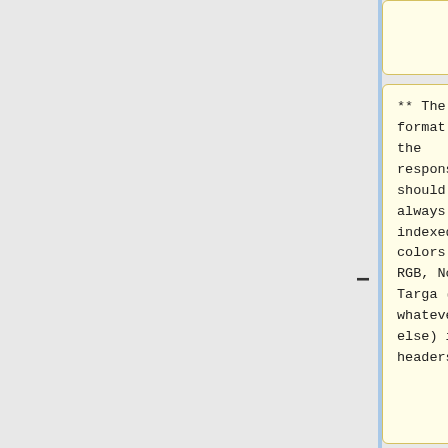one"
** The format of the response should be always 8bit indexed colors. No RGB, No Targa (or whatever else) image headers.
** The format of the response should be always 8bit indexed colors. No RGB, No Targa (or whatever else) image headers. Perhaps for compatibility reasons we keep this one and require it being 0.